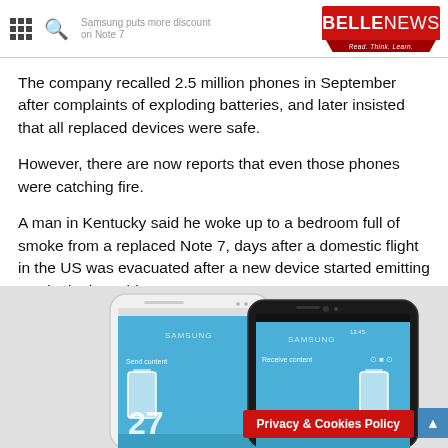BELLE NEWS — Read. Think. Learn.
The company recalled 2.5 million phones in September after complaints of exploding batteries, and later insisted that all replaced devices were safe.
However, there are now reports that even those phones were catching fire.
A man in Kentucky said he woke up to a bedroom full of smoke from a replaced Note 7, days after a domestic flight in the US was evacuated after a new device started emitting smoke in the cabin.
[Figure (photo): Two Samsung Galaxy Note 7 smartphones side by side on a grey background, showing Samsung branding and blue screens with 'Send content' and 'Receive content' labels]
Privacy & Cookies Policy